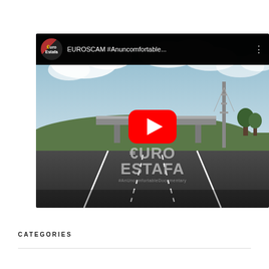[Figure (screenshot): YouTube video thumbnail for EUROSCAM #Anuncomfortable... showing a road leading to a highway overpass under cloudy skies, with a large red YouTube play button in the center, and EuroEstafa / #AnUncomfortableDocumentary watermark text overlaid. The top bar shows the EuroEstafa channel avatar and video title.]
CATEGORIES